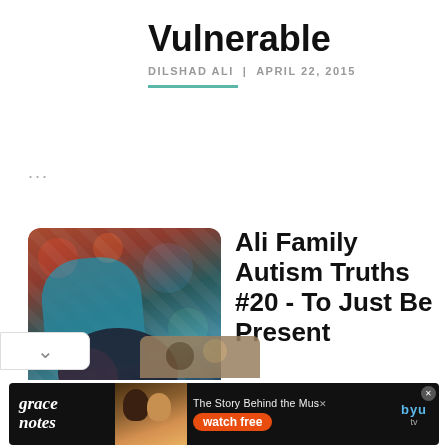Vulnerable
DILSHAD ALI | APRIL 22, 2015
...
[Figure (photo): Photo of a person lying down with teal/blue clothing on a patterned background]
Ali Family Autism Truths #20 - To Just Be Present
DILSHAD ALI | APRIL 21, 2015
...
[Figure (infographic): Grace Notes advertisement banner - The Story Behind the Music, watch free, BYU TV]